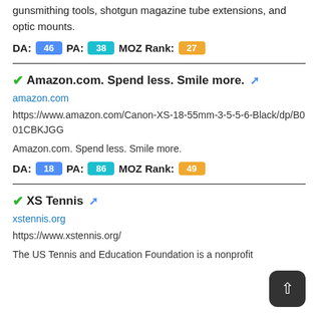gunsmithing tools, shotgun magazine tube extensions, and optic mounts.
DA: 46  PA: 38  MOZ Rank: 27
✓Amazon.com. Spend less. Smile more. 🔗
amazon.com
https://www.amazon.com/Canon-XS-18-55mm-3-5-5-6-Black/dp/B001CBKJGG
Amazon.com. Spend less. Smile more.
DA: 18  PA: 86  MOZ Rank: 49
✓XS Tennis 🔗
xstennis.org
https://www.xstennis.org/
The US Tennis and Education Foundation is a nonprofit